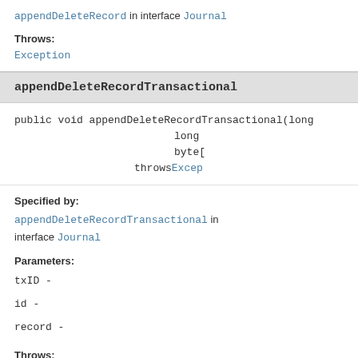appendDeleteRecord in interface Journal
Throws:
Exception
appendDeleteRecordTransactional
public void appendDeleteRecordTransactional(long
                                            long
                                            byte[]
                                   throws Exception
Specified by:
appendDeleteRecordTransactional in interface Journal
Parameters:
txID -
id -
record -
Throws: